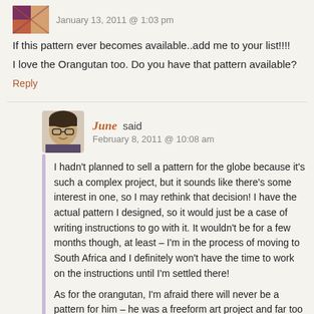[Figure (photo): Small avatar image of a commenter, partial colorful pattern visible]
January 13, 2011 @ 1:03 pm
If this pattern ever becomes available..add me to your list!!!!
I love the Orangutan too. Do you have that pattern available?
Reply
[Figure (photo): Avatar photo of June, a woman with dark hair and glasses]
June said
February 8, 2011 @ 10:08 am
I hadn't planned to sell a pattern for the globe because it's such a complex project, but it sounds like there's some interest in one, so I may rethink that decision! I have the actual pattern I designed, so it would just be a case of writing instructions to go with it. It wouldn't be for a few months though, at least – I'm in the process of moving to South Africa and I definitely won't have the time to work on the instructions until I'm settled there!
As for the orangutan, I'm afraid there will never be a pattern for him – he was a freeform art project and far too complex to pattern. There's more info at www.planetjune.com/orang if you're interested 🙂